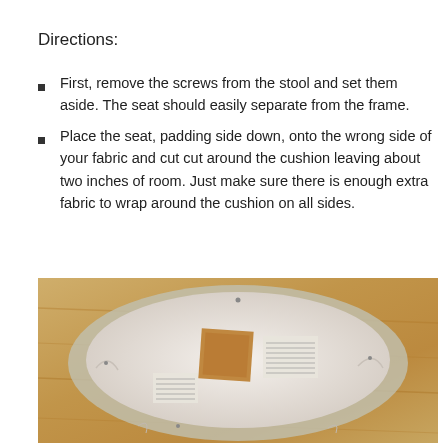Directions:
First, remove the screws from the stool and set them aside. The seat should easily separate from the frame.
Place the seat, padding side down, onto the wrong side of your fabric and cut cut around the cushion leaving about two inches of room. Just make sure there is enough extra fabric to wrap around the cushion on all sides.
[Figure (photo): A round stool cushion seat placed padding-side down on a wooden surface, showing the white fabric wrapped around it with a brown label visible on the underside.]